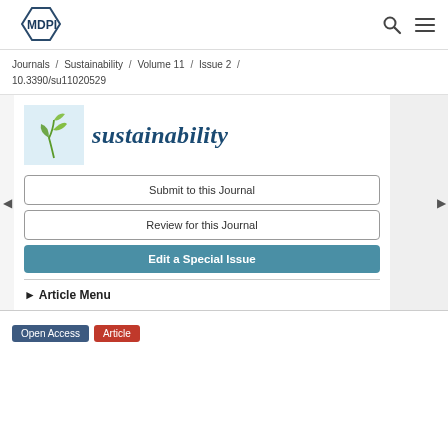[Figure (logo): MDPI logo in top left navigation bar]
Journals / Sustainability / Volume 11 / Issue 2 / 10.3390/su11020529
[Figure (logo): Sustainability journal icon with green plant/leaves on light blue background, with italic dark blue 'sustainability' text]
Submit to this Journal
Review for this Journal
Edit a Special Issue
▶ Article Menu
Open Access  Article